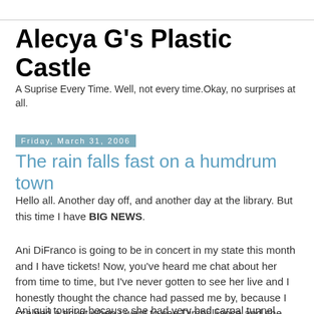Alecya G's Plastic Castle
A Suprise Every Time. Well, not every time.Okay, no surprises at all.
Friday, March 31, 2006
The rain falls fast on a humdrum town
Hello all. Another day off, and another day at the library. But this time I have BIG NEWS.
Ani DiFranco is going to be in concert in my state this month and I have tickets! Now, you've heard me chat about her from time to time, but I've never gotten to see her live and I honestly thought the chance had passed me by, because I scalped a ticket when I went to see Dimbrilliance and she had lost hers.
Ani quit touring because she had very bad carpal tunnel